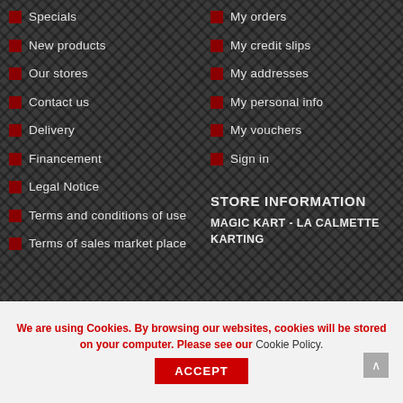Specials
New products
Our stores
Contact us
Delivery
Financement
Legal Notice
Terms and conditions of use
Terms of sales market place
My orders
My credit slips
My addresses
My personal info
My vouchers
Sign in
STORE INFORMATION
MAGIC KART - LA CALMETTE
KARTING
We are using Cookies. By browsing our websites, cookies will be stored on your computer. Please see our Cookie Policy.
ACCEPT